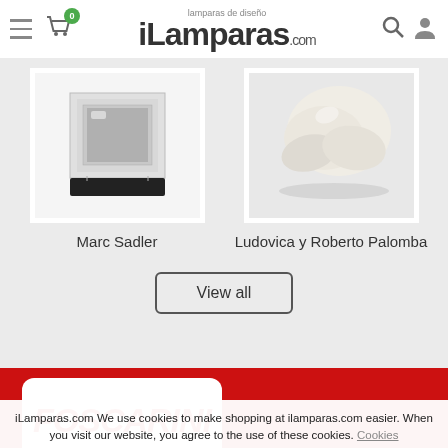iLamparas.com — lamparas de diseño
[Figure (photo): Product image of a modern square wall/ceiling lamp by Marc Sadler, white/chrome finish with black base]
Marc Sadler
[Figure (photo): Product image showing rounded organic-shaped lamps by Ludovica y Roberto Palomba, cream/white finish]
Ludovica y Roberto Palomba
View all
[Figure (logo): FOSCARINI logo in red italic bold font on white rounded rectangle card, against red background]
iLamparas.com We use cookies to make shopping at ilamparas.com easier. When you visit our website, you agree to the use of these cookies. Cookies Policy Please note that by deleting our cookies or disabling future cookies, this website might not work properly. Close Window